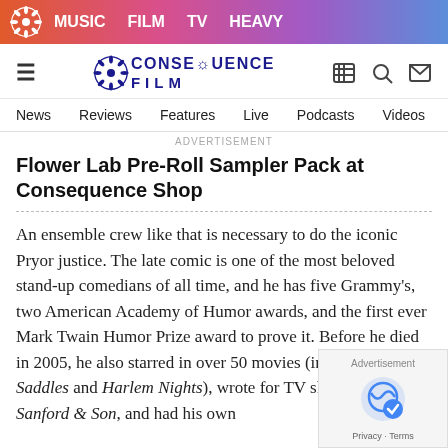MUSIC  FILM  TV  HEAVY
[Figure (logo): Consequence Film logo with navigation icons]
News  Reviews  Features  Live  Podcasts  Videos  Mobile A
Flower Lab Pre-Roll Sampler Pack at Consequence Shop
An ensemble crew like that is necessary to do the iconic Pryor justice. The late comic is one of the most beloved stand-up comedians of all time, and he has five Grammy's, two American Academy of Humor awards, and the first ever Mark Twain Humor Prize award to prove it. Before he died in 2005, he also starred in over 50 movies (including Blazing Saddles and Harlem Nights), wrote for TV shows like Sanford & Son, and had his own